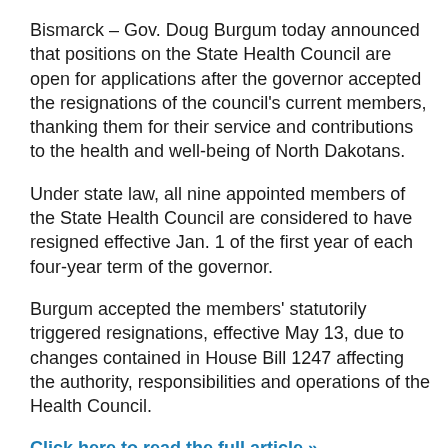Bismarck – Gov. Doug Burgum today announced that positions on the State Health Council are open for applications after the governor accepted the resignations of the council's current members, thanking them for their service and contributions to the health and well-being of North Dakotans.
Under state law, all nine appointed members of the State Health Council are considered to have resigned effective Jan. 1 of the first year of each four-year term of the governor.
Burgum accepted the members' statutorily triggered resignations, effective May 13, due to changes contained in House Bill 1247 affecting the authority, responsibilities and operations of the Health Council.
Click here to read the full article »